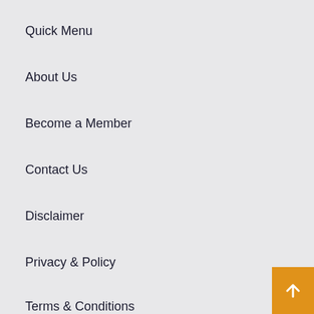Quick Menu
About Us
Become a Member
Contact Us
Disclaimer
Privacy & Policy
Terms & Conditions
Recent News
Health Department Refers to DearSA as “Terrorists and